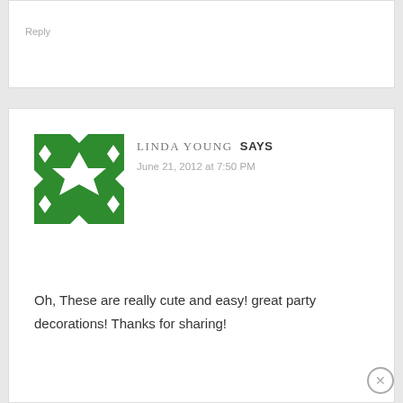Reply
[Figure (illustration): Green and white geometric/kaleidoscope pattern avatar for Linda Young]
LINDA YOUNG SAYS
June 21, 2012 at 7:50 PM
Oh, These are really cute and easy! great party decorations! Thanks for sharing!
Hope your summer sizzles!
Linda @ Grandmalay's Daydreams